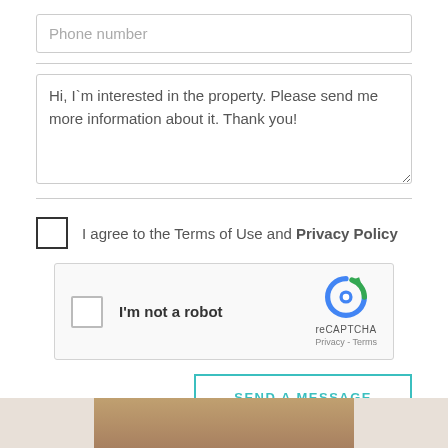Phone number
Hi, I`m interested in the property. Please send me more information about it. Thank you!
I agree to the Terms of Use and Privacy Policy
[Figure (other): reCAPTCHA widget with checkbox, 'I'm not a robot' text, reCAPTCHA logo, Privacy and Terms links]
SEND A MESSAGE
[Figure (photo): Partial photo visible at bottom of page]